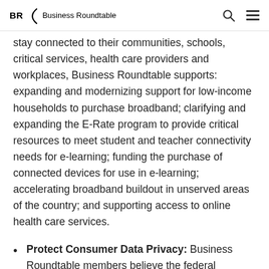BR Business Roundtable
stay connected to their communities, schools, critical services, health care providers and workplaces, Business Roundtable supports: expanding and modernizing support for low-income households to purchase broadband; clarifying and expanding the E-Rate program to provide critical resources to meet student and teacher connectivity needs for e-learning; funding the purchase of connected devices for use in e-learning; accelerating broadband buildout in unserved areas of the country; and supporting access to online health care services.
Protect Consumer Data Privacy: Business Roundtable members believe the federal government should take two critical actions to